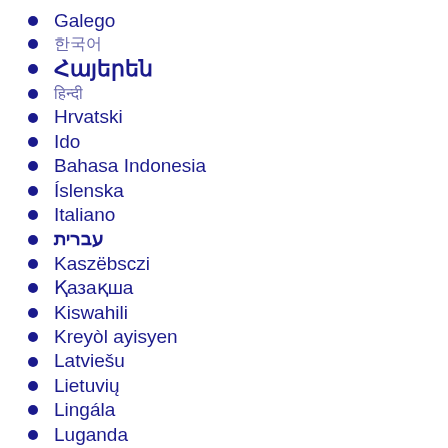Galego
한국어
Հայերեն
हिन्दी
Hrvatski
Ido
Bahasa Indonesia
Íslenska
Italiano
עברית
Kaszëbsczi
Қазақша
Kiswahili
Kreyòl ayisyen
Latviešu
Lietuvių
Lingála
Luganda
Magyar
Македонски
മലയാളം